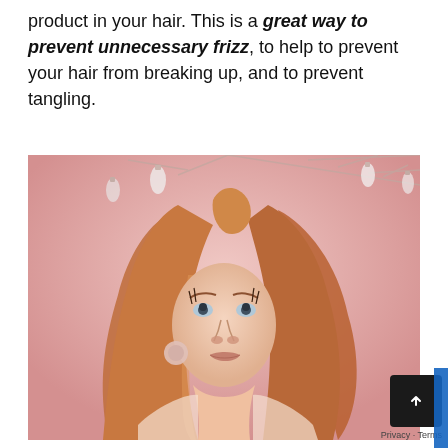product in your hair. This is a great way to prevent unnecessary frizz, to help to prevent your hair from breaking up, and to prevent tangling.
[Figure (photo): A young woman with long red hair looking upward against a pink background with hanging string lights and bare branches.]